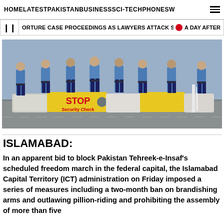HOME  LATEST  PAKISTAN  BUSINESS  SCI-TECH  PHONES  W
TORTURE CASE PROCEEDINGS AS LAWYERS ATTACK SHEIKH DANISH  •  A DAY AFTER
[Figure (photo): Police officers in blue uniforms standing behind concrete barriers with a yellow STOP Security Check sign at a security checkpoint]
ISLAMABAD:
In an apparent bid to block Pakistan Tehreek-e-Insaf's scheduled freedom march in the federal capital, the Islamabad Capital Territory (ICT) administration on Friday imposed a series of measures including a two-month ban on brandishing arms and outlawing pillion-riding and prohibiting the assembly of more than five